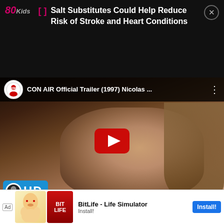80Kids
Salt Substitutes Could Help Reduce Risk of Stroke and Heart Conditions
[Figure (screenshot): YouTube video thumbnail for CON AIR Official Trailer (1997) Nicolas... showing a man with long hair smiling, with HD badge in bottom left corner and YouTube play button overlay]
Jerry Bruckheimer rose to fame and fortune as a movie producer with fellow producer
[Figure (screenshot): Ad banner for BitLife - Life Simulator game with Install! button]